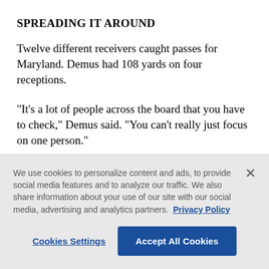SPREADING IT AROUND
Twelve different receivers caught passes for Maryland. Demus had 108 yards on four receptions.
“It’s a lot of people across the board that you have to check,” Demus said. “You can’t really just focus on one person.”
THROUGH THE AIR
Kent State was averaging 266 yards rushing per game
We use cookies to personalize content and ads, to provide social media features and to analyze our traffic. We also share information about your use of our site with our social media, advertising and analytics partners. Privacy Policy
Cookies Settings
Accept All Cookies